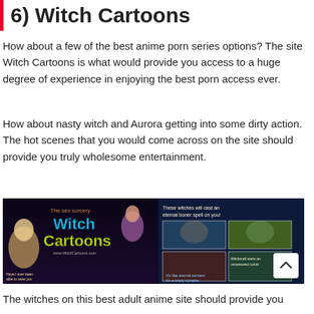6) Witch Cartoons
How about a few of the best anime porn series options? The site Witch Cartoons is what would provide you access to a huge degree of experience in enjoying the best porn access ever.
How about nasty witch and Aurora getting into some dirty action. The hot scenes that you would come across on the site should provide you truly wholesome entertainment.
[Figure (screenshot): Screenshot of Witch Cartoons website showing anime cartoon characters and comic panels with 'The sex sorcery Witch Cartoons' logo and text 'These witches will cast an eternal boner spell on you!']
The witches on this best adult anime site should provide you